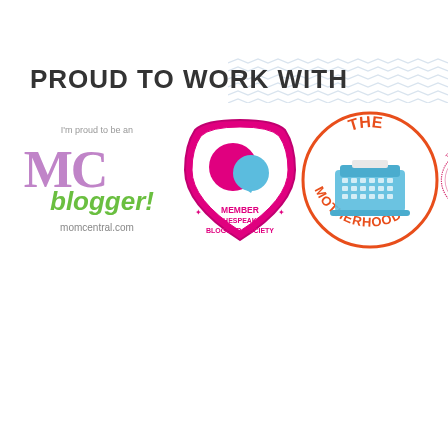PROUD TO WORK WITH
[Figure (logo): MC Blogger badge - I'm proud to be an MC blogger! momcentral.com]
[Figure (logo): Member SheSpeaks Blogger Society badge - pink shield shape with speech bubbles]
[Figure (logo): The Motherhood badge - orange circle with typewriter illustration]
[Figure (logo): Partially visible circular badge on the right edge]